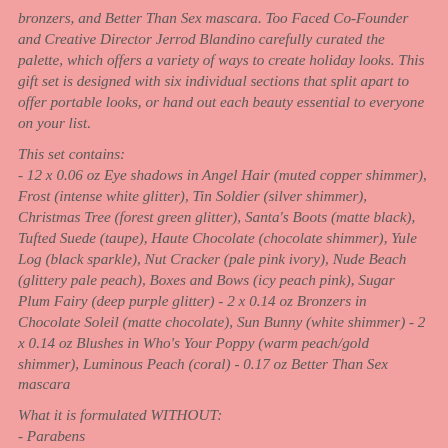bronzers, and Better Than Sex mascara. Too Faced Co-Founder and Creative Director Jerrod Blandino carefully curated the palette, which offers a variety of ways to create holiday looks. This gift set is designed with six individual sections that split apart to offer portable looks, or hand out each beauty essential to everyone on your list.
This set contains:
- 12 x 0.06 oz Eye shadows in Angel Hair (muted copper shimmer), Frost (intense white glitter), Tin Soldier (silver shimmer), Christmas Tree (forest green glitter), Santa's Boots (matte black), Tufted Suede (taupe), Haute Chocolate (chocolate shimmer), Yule Log (black sparkle), Nut Cracker (pale pink ivory), Nude Beach (glittery pale peach), Boxes and Bows (icy peach pink), Sugar Plum Fairy (deep purple glitter) - 2 x 0.14 oz Bronzers in Chocolate Soleil (matte chocolate), Sun Bunny (white shimmer) - 2 x 0.14 oz Blushes in Who's Your Poppy (warm peach/gold shimmer), Luminous Peach (coral) - 0.17 oz Better Than Sex mascara
What it is formulated WITHOUT:
- Parabens
- Sulfates